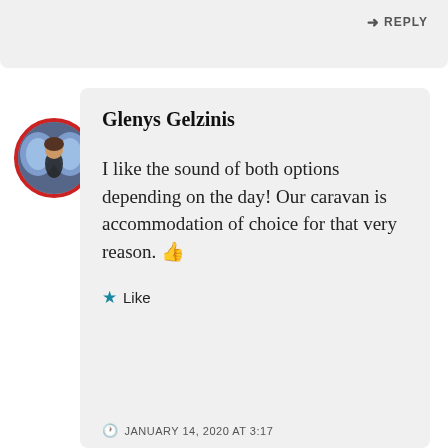[Figure (screenshot): Partial top bar of a previous web comment with a REPLY link in the upper right]
[Figure (photo): Circular avatar photo of a person with wings/costume, bordered in red]
Glenys Gelzinis
I like the sound of both options depending on the day! Our caravan is accommodation of choice for that very reason. 👍
Like
JANUARY 14, 2020 AT 3:17